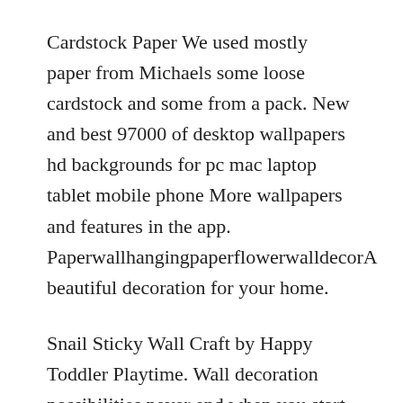Cardstock Paper We used mostly paper from Michaels some loose cardstock and some from a pack. New and best 97000 of desktop wallpapers hd backgrounds for pc mac laptop tablet mobile phone More wallpapers and features in the app. PaperwallhangingpaperflowerwalldecorA beautiful decoration for your home.
Snail Sticky Wall Craft by Happy Toddler Playtime. Wall decoration possibilities never end when you start enjoying these paper craft ideas. Oct 1 2017 – 3D Papercraft Fox wall